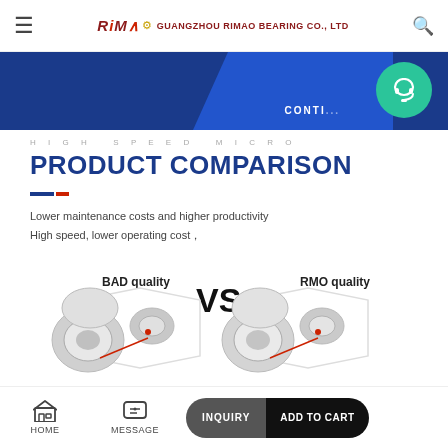GUANGZHOU RIMAO BEARING CO., LTD
[Figure (screenshot): Blue banner with diagonal accent and teal contact circle overlay showing headset icon and partial text CONTI]
HIGH SPEED MICRO
PRODUCT COMPARISON
Lower maintenance costs and higher productivity
High speed, lower operating cost,
[Figure (photo): Product comparison image showing BAD quality bearings VS RMO quality bearings side by side with hexagonal frames and close-up detail shots]
HOME | MESSAGE | INQUIRY | ADD TO CART